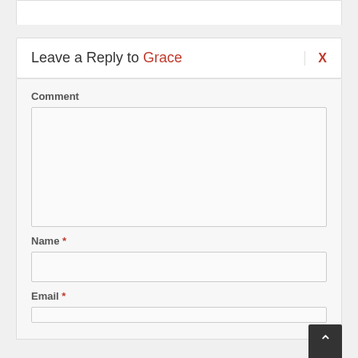Leave a Reply to Grace
Comment
Name *
Email *